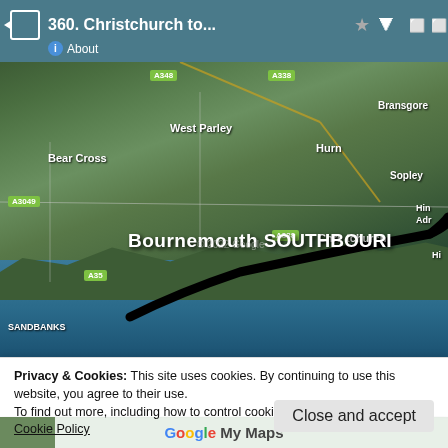360. Christchurch to...
[Figure (map): Satellite map showing the Bournemouth/Christchurch coastal area in Dorset, UK, with a black route line drawn from Sandbanks through Bournemouth to Southbourne/Christchurch. Road labels visible: A348, A338, A3049, A35. Place names: Bear Cross, West Parley, Hurn, Sopley, Bransgore, Christchurch, Bournemouth, Southbourne, Sandbanks. Copyright 2022 Google.]
Privacy & Cookies: This site uses cookies. By continuing to use this website, you agree to their use.
To find out more, including how to control cookies, see here:
Cookie Policy
Close and accept
Google My Maps